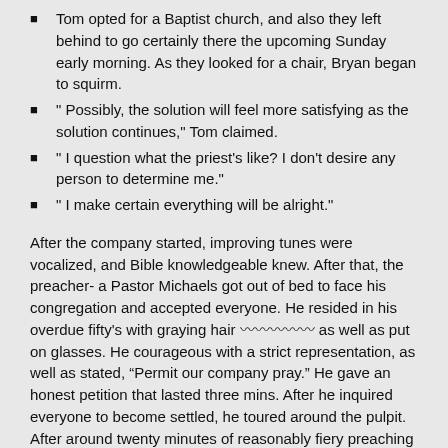Tom opted for a Baptist church, and also they left behind to go certainly there the upcoming Sunday early morning. As they looked for a chair, Bryan began to squirm.
" Possibly, the solution will feel more satisfying as the solution continues," Tom claimed.
" I question what the priest's like? I don't desire any person to determine me."
" I make certain everything will be alright."
After the company started, improving tunes were vocalized, and Bible knowledgeable knew. After that, the preacher- a Pastor Michaels got out of bed to face his congregation and accepted everyone. He resided in his overdue fifty's with graying hair 〰〰〰〰〰 as well as put on glasses. He courageous with a strict representation, as well as stated, “Permit our company pray.” He gave an honest petition that lasted three mins. After he inquired everyone to become settled, he toured around the pulpit. After around twenty minutes of reasonably fiery preaching about all types of sin, including a loan may cause a